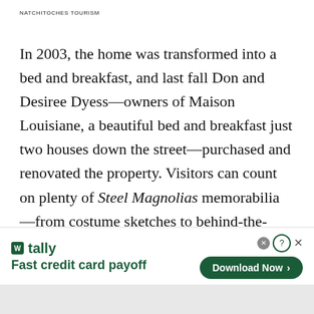NATCHITOCHES TOURISM
In 2003, the home was transformed into a bed and breakfast, and last fall Don and Desiree Dyess—owners of Maison Louisiane, a beautiful bed and breakfast just two houses down the street—purchased and renovated the property. Visitors can count on plenty of Steel Magnolias memorabilia—from costume sketches to behind-the-scenes photos—and can choose from six suites named for movie characters. Of course, they can also reminisce about
[Figure (screenshot): Advertisement banner for Tally app — 'Fast credit card payoff' with a Download Now button]